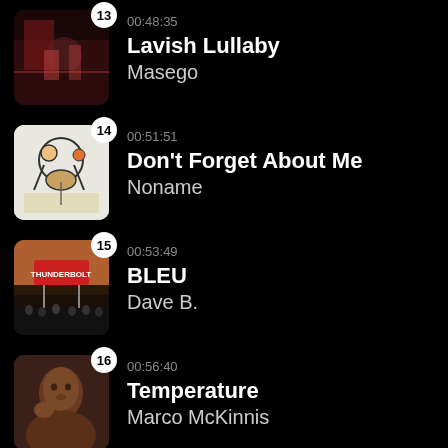13 | 00:48:35 | Lavish Lullaby | Masego
14 | 00:51:51 | Don't Forget About Me | Noname
15 | 00:53:49 | BLEU | Dave B.
16 | 00:56:40 | Temperature | Marco McKinnis